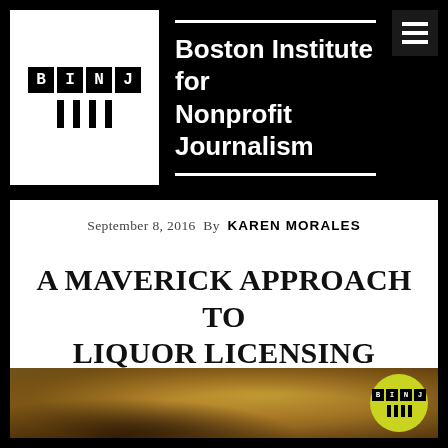Boston Institute for Nonprofit Journalism
September 8, 2016  By  KAREN MORALES
A MAVERICK APPROACH TO LIQUOR LICENSING
[Figure (photo): Sepia-toned photo of a bearded man at a bar, with a BINJ logo watermark circle in the lower right corner]